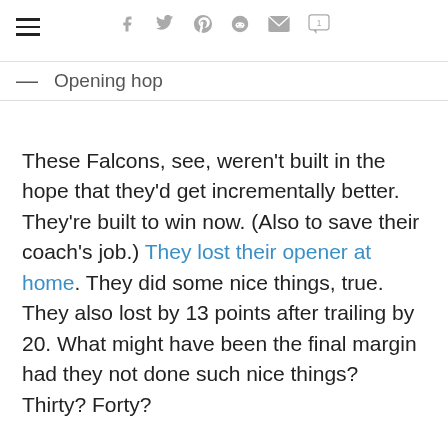Navigation and social icons bar
— Opening hop
These Falcons, see, weren't built in the hope that they'd get incrementally better. They're built to win now. (Also to save their coach's job.) They lost their opener at home. They did some nice things, true. They also lost by 13 points after trailing by 20. What might have been the final margin had they not done such nice things? Thirty? Forty?
Were this the first game of a rebuilding team under a new coach, we might see it differently. This, however, was Game 1 of Season 6 under Dan Quinn. Nobody's looking at a five-year plan. If results don't improve posthaste, DQ might not